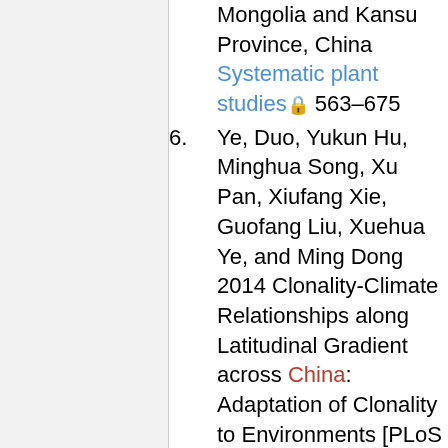Mongolia and Kansu Province, China Systematic plant studies 563–675
6. Ye, Duo, Yukun Hu, Minghua Song, Xu Pan, Xiufang Xie, Guofang Liu, Xuehua Ye, and Ming Dong 2014 Clonality-Climate Relationships along Latitudinal Gradient across China: Adaptation of Clonality to Environments [PLoS One] 9(4): e94009
7. Zhu Hua, Wang Hong